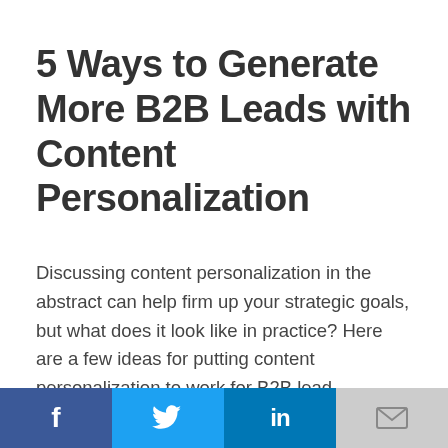5 Ways to Generate More B2B Leads with Content Personalization
Discussing content personalization in the abstract can help firm up your strategic goals, but what does it look like in practice? Here are a few ideas for putting content personalization to work for B2B lead generation.
1. Follow the Data
Nobody wants to be a statistic, viewed as just a set of numbers instead of a person. So turn that idea around—leverage your customer
f  twitter  in  email